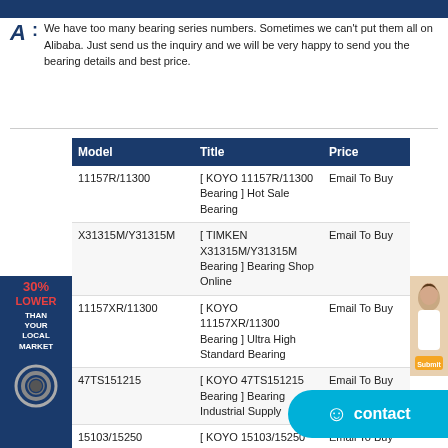A: We have too many bearing series numbers. Sometimes we can't put them all on Alibaba. Just send us the inquiry and we will be very happy to send you the bearing details and best price.
| Model | Title | Price |
| --- | --- | --- |
| 11157R/11300 | [ KOYO 11157R/11300 Bearing ] Hot Sale Bearing | Email To Buy |
| X31315M/Y31315M | [ TIMKEN X31315M/Y31315M Bearing ] Bearing Shop Online | Email To Buy |
| 11157XR/11300 | [ KOYO 11157XR/11300 Bearing ] Ultra High Standard Bearing | Email To Buy |
| 47TS151215 | [ KOYO 47TS151215 Bearing ] Bearing Industrial Supply | Email To Buy |
| 15103/15250 | [ KOYO 15103/15250 Bearing ] Bearing Professional Agent | Email To Buy |
| 15102/15250X | [ KOYO 15102/15250X Bearing ] Bearing Shop Online | Email To Buy |
| BHTM1515-1 | [ KOYO BHTM1515-1 Bearing ] Bearing Rich Stock | Email To Buy |
| EE115097/115175 | [ KOYO EE115097/115175 Bearing ] Low Bearing Price |  |